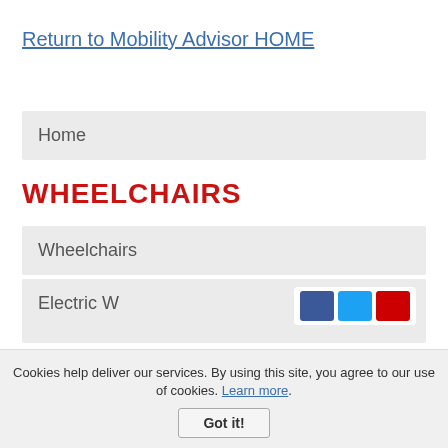Return to Mobility Advisor HOME
Home
WHEELCHAIRS
Wheelchairs
Electric W
Cookies help deliver our services. By using this site, you agree to our use of cookies. Learn more.
Got it!